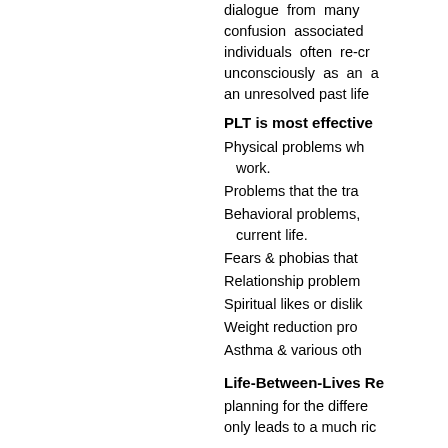dialogue from many confusion associated individuals often re-cr unconsciously as an a an unresolved past life
PLT is most effective
Physical problems wh work.
Problems that the tra
Behavioral problems, current life.
Fears & phobias that
Relationship problem
Spiritual likes or dislik
Weight reduction pro
Asthma & various oth
Life-Between-Lives Re
planning for the differe only leads to a much ri